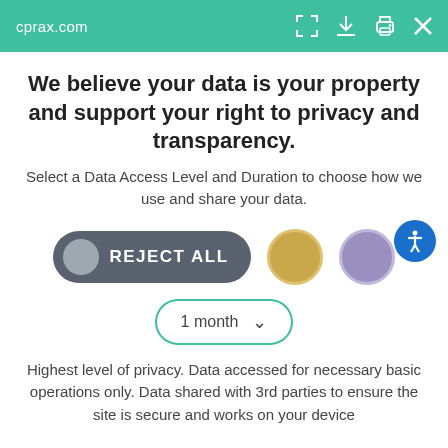cprax.com
We believe your data is your property and support your right to privacy and transparency.
Select a Data Access Level and Duration to choose how we use and share your data.
[Figure (infographic): Three option buttons: a dark gray pill-shaped 'REJECT ALL' button with a gray circle icon, a gold circle option, and a purple circle option]
[Figure (infographic): A dropdown selector showing '1 month' with a teal border and a chevron arrow]
Highest level of privacy. Data accessed for necessary basic operations only. Data shared with 3rd parties to ensure the site is secure and works on your device
Save my preferences